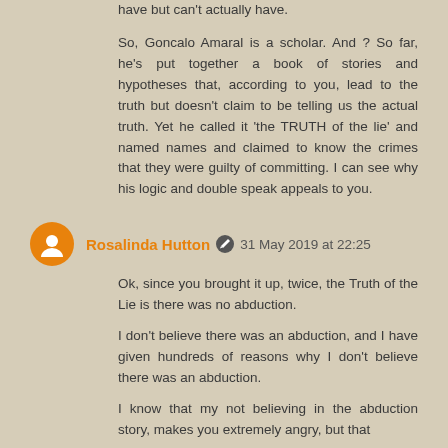have but can't actually have.

So, Goncalo Amaral is a scholar. And ? So far, he's put together a book of stories and hypotheses that, according to you, lead to the truth but doesn't claim to be telling us the actual truth. Yet he called it 'the TRUTH of the lie' and named names and claimed to know the crimes that they were guilty of committing. I can see why his logic and double speak appeals to you.
Rosalinda Hutton  31 May 2019 at 22:25
Ok, since you brought it up, twice, the Truth of the Lie is there was no abduction.

I don't believe there was an abduction, and I have given hundreds of reasons why I don't believe there was an abduction.

I know that my not believing in the abduction story, makes you extremely angry, but that